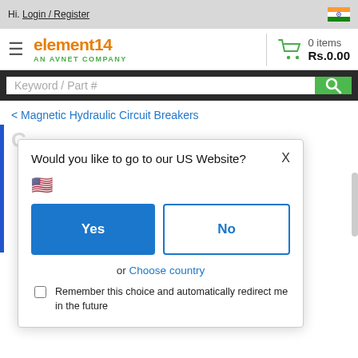Hi. Login / Register
[Figure (screenshot): element14 AN AVNET COMPANY logo with cart showing 0 items Rs.0.00]
[Figure (screenshot): Search bar with Keyword / Part # placeholder and green search button]
< Magnetic Hydraulic Circuit Breakers
[Figure (screenshot): Modal dialog: Would you like to go to our US Website? with US flag, Yes and No buttons, or Choose country link, and Remember this choice checkbox]